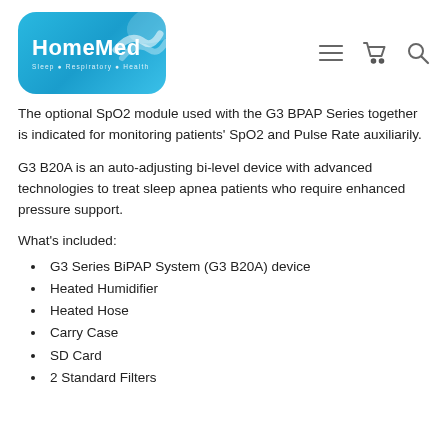[Figure (logo): HomeMed logo with blue rounded rectangle background, white wave graphic, text 'HomeMed' and subtitle 'Sleep • Respiratory • Health'. Navigation icons: hamburger menu, cart, search.]
The optional SpO2 module used with the G3 BPAP Series together is indicated for monitoring patients' SpO2 and Pulse Rate auxiliarily.
G3 B20A is an auto-adjusting bi-level device with advanced technologies to treat sleep apnea patients who require enhanced pressure support.
What's included:
G3 Series BiPAP System (G3 B20A) device
Heated Humidifier
Heated Hose
Carry Case
SD Card
2 Standard Filters